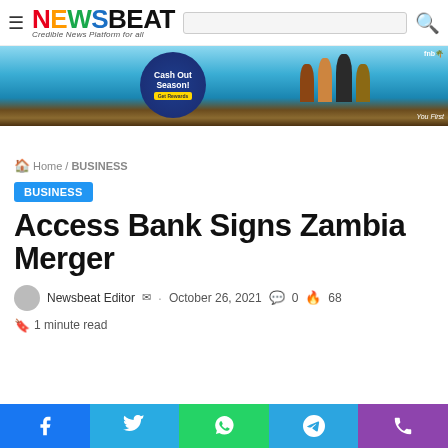NEWSBEAT — Credible News Platform for all
[Figure (photo): Advertisement banner for FNB Cash Out Season promotion with hands raised and blue sky background]
Home / BUSINESS
BUSINESS
Access Bank Signs Zambia Merger
Newsbeat Editor · October 26, 2021 · 0 comments · 68 views
1 minute read
Facebook · Twitter · WhatsApp · Telegram · Phone